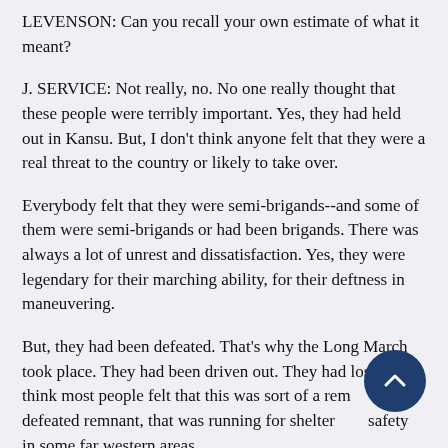LEVENSON: Can you recall your own estimate of what it meant?
J. SERVICE: Not really, no. No one really thought that these people were terribly important. Yes, they had held out in Kansu. But, I don't think anyone felt that they were a real threat to the country or likely to take over.
Everybody felt that they were semi-brigands--and some of them were semi-brigands or had been brigands. There was always a lot of unrest and dissatisfaction. Yes, they were legendary for their marching ability, for their deftness in maneuvering.
But, they had been defeated. That's why the Long March took place. They had been driven out. They had lost, I think most people felt that this was sort of a remnant, defeated remnant, that was running for shelter and safety in some far western areas.
LEVENSON: How about your own recollection of...